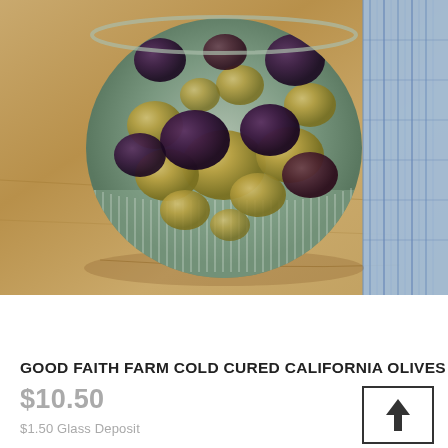[Figure (photo): A bowl of mixed olives (green and dark purple/black) in a striped ceramic bowl on a wooden cutting board, with a blue and white cloth napkin on the right side]
GOOD FAITH FARM COLD CURED CALIFORNIA OLIVES
$10.50
$1.50 Glass Deposit